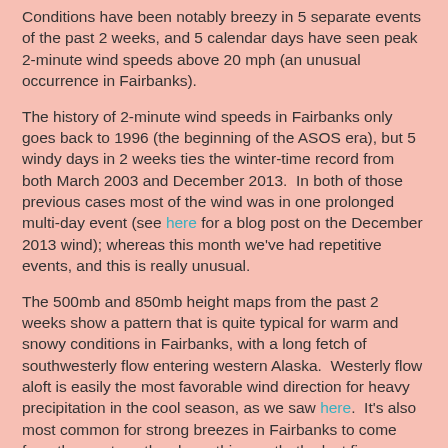Conditions have been notably breezy in 5 separate events of the past 2 weeks, and 5 calendar days have seen peak 2-minute wind speeds above 20 mph (an unusual occurrence in Fairbanks).
The history of 2-minute wind speeds in Fairbanks only goes back to 1996 (the beginning of the ASOS era), but 5 windy days in 2 weeks ties the winter-time record from both March 2003 and December 2013.  In both of those previous cases most of the wind was in one prolonged multi-day event (see here for a blog post on the December 2013 wind); whereas this month we've had repetitive events, and this is really unusual.
The 500mb and 850mb height maps from the past 2 weeks show a pattern that is quite typical for warm and snowy conditions in Fairbanks, with a long fetch of southwesterly flow entering western Alaska.  Westerly flow aloft is easily the most favorable wind direction for heavy precipitation in the cool season, as we saw here.  It's also most common for strong breezes in Fairbanks to come from the west, as they have this month; the last figure below shows that the vast